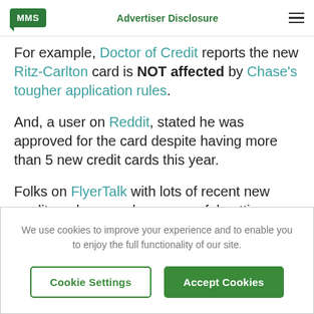MMS | Advertiser Disclosure
For example, Doctor of Credit reports the new Ritz-Carlton card is NOT affected by Chase's tougher application rules.
And, a user on Reddit, stated he was approved for the card despite having more than 5 new credit cards this year.
Folks on FlyerTalk with lots of recent new credit cards were also successful getting approved for
We use cookies to improve your experience and to enable you to enjoy the full functionality of our site.
Cookie Settings | Accept Cookies